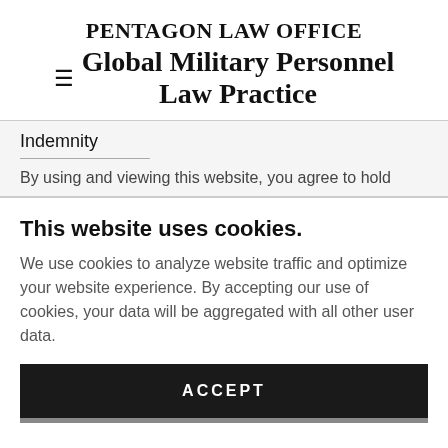PENTAGON LAW OFFICE
≡  Global Military Personnel Law Practice
Indemnity
By using and viewing this website, you agree to hold
This website uses cookies.
We use cookies to analyze website traffic and optimize your website experience. By accepting our use of cookies, your data will be aggregated with all other user data.
ACCEPT